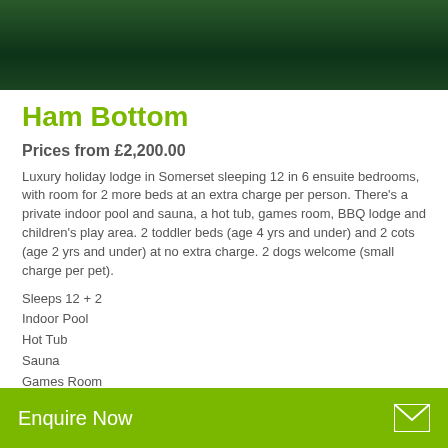[Figure (photo): Dark green outdoor grass/nature photo banner at top of page]
Ham Bottom
Prices from £2,200.00
Luxury holiday lodge in Somerset sleeping 12 in 6 ensuite bedrooms, with room for 2 more beds at an extra charge per person. There's a private indoor pool and sauna, a hot tub, games room, BBQ lodge and children's play area. 2 toddler beds (age 4 yrs and under) and 2 cots (age 2 yrs and under) at no extra charge. 2 dogs welcome (small charge per pet).
Sleeps 12 + 2
Indoor Pool
Hot Tub
Sauna
Games Room
Enquire Now